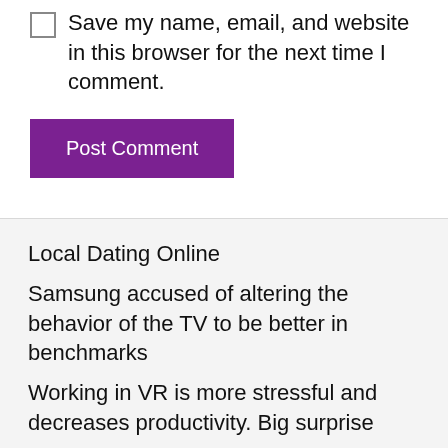Save my name, email, and website in this browser for the next time I comment.
Post Comment
Local Dating Online
Samsung accused of altering the behavior of the TV to be better in benchmarks
Working in VR is more stressful and decreases productivity. Big surprise
Elden Ring animation captures the feeling of being constantly